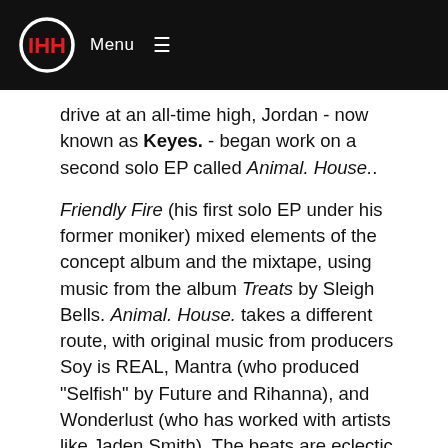Menu ≡
drive at an all-time high, Jordan - now known as Keyes. - began work on a second solo EP called Animal. House..
Friendly Fire (his first solo EP under his former moniker) mixed elements of the concept album and the mixtape, using music from the album Treats by Sleigh Bells. Animal. House. takes a different route, with original music from producers Soy is REAL, Mantra (who produced "Selfish" by Future and Rihanna), and Wonderlust (who has worked with artists like Jaden Smith). The beats are eclectic, ranging from trap to club rap to party rap, and it all sounds crisp and cohesive. Wonderlust is responsible for most of the production here, doing four of the seven tracks, yet he might also be the most responsible for the diversity in sound; I wouldn't expect beats like "Fake Gold Chain," "Meadowlark Lemon," and "Fade Away" to all be part of the same project.